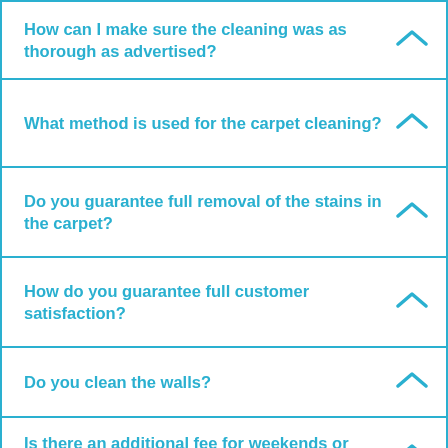How can I make sure the cleaning was as thorough as advertised?
What method is used for the carpet cleaning?
Do you guarantee full removal of the stains in the carpet?
How do you guarantee full customer satisfaction?
Do you clean the walls?
Is there an additional fee for weekends or Bank Holidays?